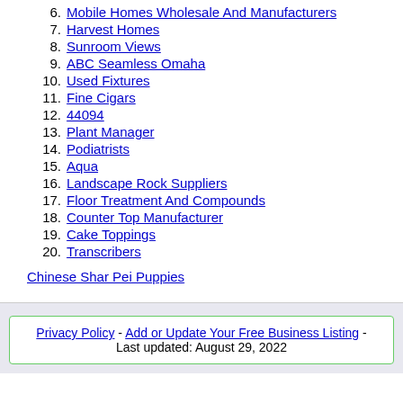6. Mobile Homes Wholesale And Manufacturers
7. Harvest Homes
8. Sunroom Views
9. ABC Seamless Omaha
10. Used Fixtures
11. Fine Cigars
12. 44094
13. Plant Manager
14. Podiatrists
15. Aqua
16. Landscape Rock Suppliers
17. Floor Treatment And Compounds
18. Counter Top Manufacturer
19. Cake Toppings
20. Transcribers
Chinese Shar Pei Puppies
Privacy Policy - Add or Update Your Free Business Listing - Last updated: August 29, 2022